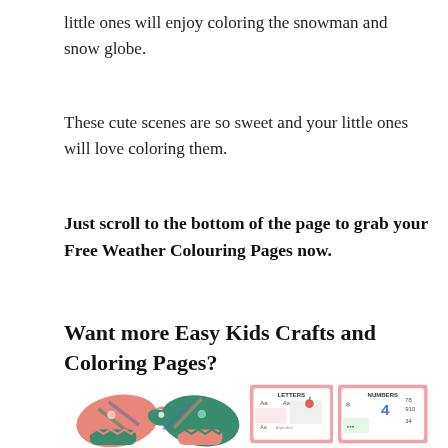little ones will enjoy coloring the snowman and snow globe.
These cute scenes are so sweet and your little ones will love coloring them.
Just scroll to the bottom of the page to grab your Free Weather Colouring Pages now.
Want more Easy Kids Crafts and Coloring Pages?
[Figure (illustration): Two cartoon winter mittens in pink and green with stripes and polka dots, plus two worksheet thumbnails showing letters and numbers coloring pages on pink background]